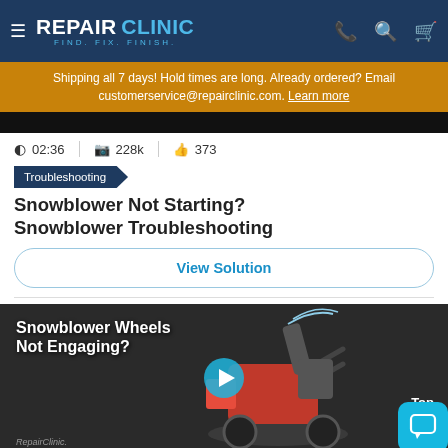REPAIR CLINIC — FIND. FIX. FINISH.
Shipping all 7 days! Hold times are long. Already ordered? Email customerservice@repairclinic.com. Learn more
[Figure (screenshot): Black video thumbnail bar]
02:36   228k   373
Troubleshooting
Snowblower Not Starting? Snowblower Troubleshooting
View Solution
[Figure (screenshot): Video thumbnail showing snowblower with text 'Snowblower Wheels Not Engaging?' and play button. Bottom right shows 'Top 3'. RepairClinic logo visible at bottom left.]